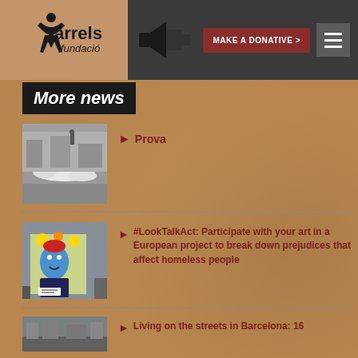[Figure (logo): Arrels Fundació logo with stylized figure and text on kraft paper background]
[Figure (other): Megaphone/speaker icon in dark silhouette]
[Figure (other): MAKE A DONATIVE > button in dark red]
[Figure (other): Hamburger menu icon on gray background]
More news
[Figure (photo): Person sleeping on street covered with white sheet]
Prova
[Figure (photo): Colorful street art mural depicting a figure with flowers]
#LookTalkAct: Participate with your art in a European project to break down prejudices that affect homeless people
[Figure (photo): Street scene photograph thumbnail]
Living on the streets in Barcelona: 16